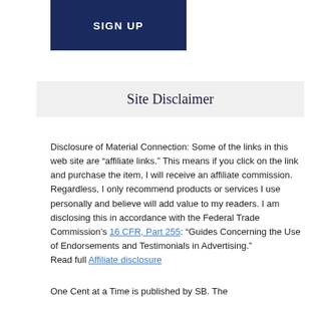[Figure (other): Dark navy blue 'SIGN UP' button]
Site Disclaimer
Disclosure of Material Connection: Some of the links in this web site are “affiliate links.” This means if you click on the link and purchase the item, I will receive an affiliate commission. Regardless, I only recommend products or services I use personally and believe will add value to my readers. I am disclosing this in accordance with the Federal Trade Commission’s 16 CFR, Part 255: “Guides Concerning the Use of Endorsements and Testimonials in Advertising.”
Read full Affiliate disclosure
One Cent at a Time is published by SB. The